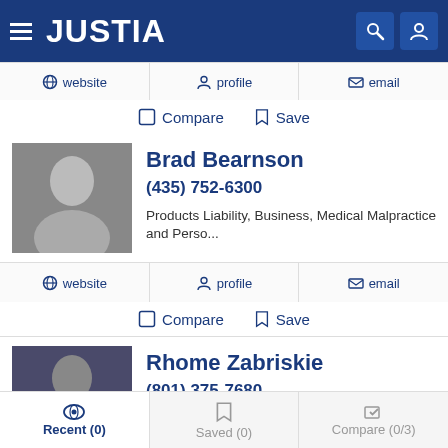[Figure (screenshot): Justia website navigation bar with hamburger menu, JUSTIA logo, search icon and user icon on dark blue background]
[Figure (infographic): Action bar with website, profile, email links]
Compare   Save
[Figure (photo): Black and white headshot photo of Brad Bearnson]
Brad Bearnson
(435) 752-6300
Products Liability, Business, Medical Malpractice and Perso...
[Figure (infographic): Action bar with website, profile, email links for Brad Bearnson]
Compare   Save
[Figure (photo): Color headshot photo of Rhome Zabriskie]
Rhome Zabriskie
(801) 375-7680
Products Liability, Criminal, Medical Malpractice and Perso...
Recent (0)   Saved (0)   Compare (0/3)